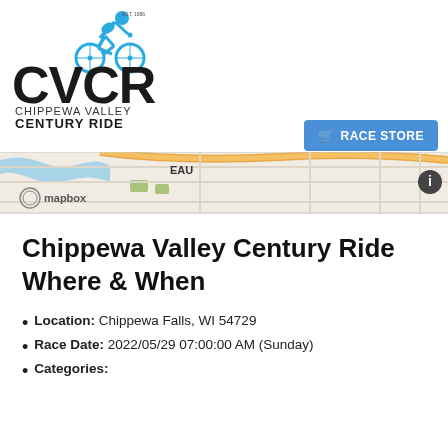[Figure (logo): Chippewa Valley Century Ride logo with cyclist silhouette in blue, 'CVCR' large letters, 'EST. 1986', and text 'CHIPPEWA VALLEY CENTURY RIDE' below]
[Figure (screenshot): Mapbox map strip showing Eau Claire, WI area with roads and terrain]
RACE STORE button
Chippewa Valley Century Ride Where & When
Location: Chippewa Falls, WI 54729
Race Date: 2022/05/29 07:00:00 AM (Sunday)
Categories: